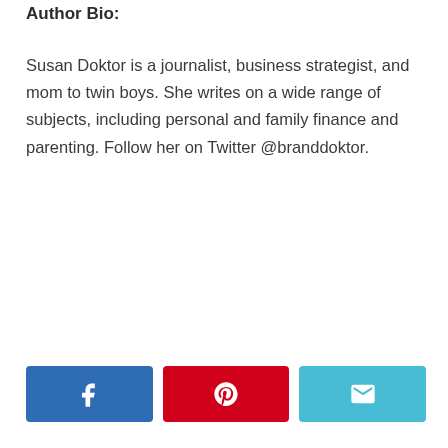Author Bio:
Susan Doktor is a journalist, business strategist, and mom to twin boys. She writes on a wide range of subjects, including personal and family finance and parenting. Follow her on Twitter @branddoktor.
[Figure (other): Three social share buttons: Facebook (blue), Pinterest (red), and Email (light blue), each containing the respective icon (Facebook f, Pinterest pin, envelope).]